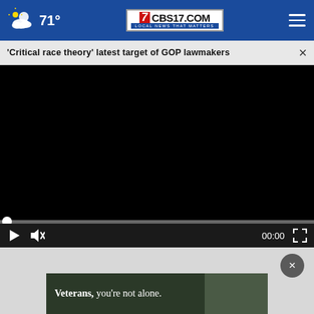71° CBS17.COM LOCAL NEWS THAT MATTERS
'Critical race theory' latest target of GOP lawmakers ×
[Figure (screenshot): Black video player area with playback controls showing 00:00 timecode, play button, mute button, and fullscreen button]
[Figure (photo): Advertisement banner reading 'Veterans, you're not alone.' with a person in background]